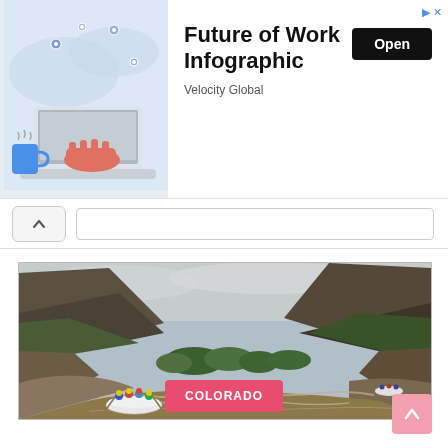[Figure (infographic): Advertisement banner for 'Future of Work Infographic' by Velocity Global, showing a laptop with a hand, world map, location pins, and a blue mug. Has an 'Open' button.]
[Figure (photo): Landscape photo of white water rafting on a muddy brown river through a mountain canyon with green trees and cloudy sky. Two rafts visible with people wearing helmets and life jackets.]
COLORADO
[Figure (other): Pink scroll-to-top arrow button in the bottom right corner.]